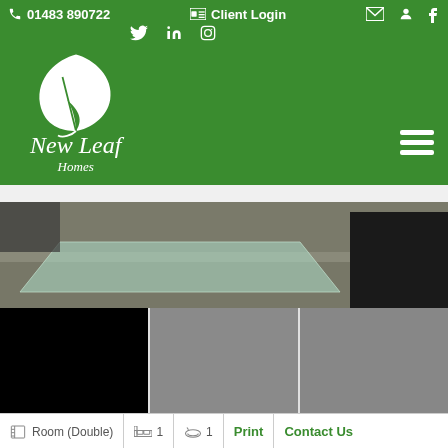📞 01483 890722  🪪 Client Login  ✉  👤  f
[Figure (logo): New Leaf Homes logo with white maple leaf and italic script text on green background]
[Figure (photo): Interior room photo showing a glass table, dark furniture on carpet]
[Figure (photo): Three thumbnail images: one black, two gray placeholder images]
Room (Double)  🛏 1  🛁 1  Print  Contact Us